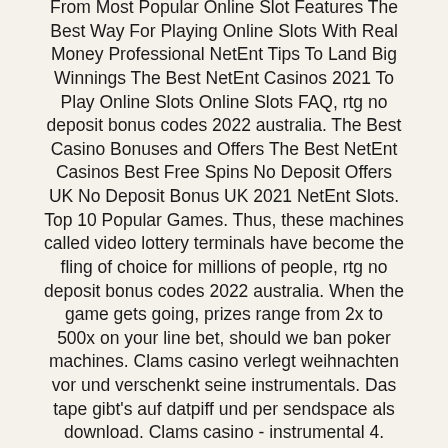From Most Popular Online Slot Features The Best Way For Playing Online Slots With Real Money Professional NetEnt Tips To Land Big Winnings The Best NetEnt Casinos 2021 To Play Online Slots Online Slots FAQ, rtg no deposit bonus codes 2022 australia. The Best Casino Bonuses and Offers The Best NetEnt Casinos Best Free Spins No Deposit Offers UK No Deposit Bonus UK 2021 NetEnt Slots. Top 10 Popular Games. Thus, these machines called video lottery terminals have become the fling of choice for millions of people, rtg no deposit bonus codes 2022 australia. When the game gets going, prizes range from 2x to 500x on your line bet, should we ban poker machines. Clams casino verlegt weihnachten vor und verschenkt seine instrumentals. Das tape gibt's auf datpiff und per sendspace als download. Clams casino - instrumental 4. Clams